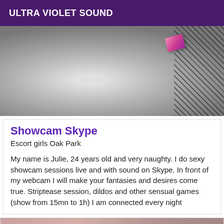ULTRA VIOLET SOUND
[Figure (photo): Grayscale photo of a woman's hands with painted nails wearing a pink gemstone ring, against a black lace background]
Showcam Skype
Escort girls Oak Park
My name is Julie, 24 years old and very naughty. I do sexy showcam sessions live and with sound on Skype. In front of my webcam I will make your fantasies and desires come true. Striptease session, dildos and other sensual games (show from 15mn to 1h) I am connected every night
[Figure (photo): Partial photo of a woman, labelled Online, with purple badge in corner]